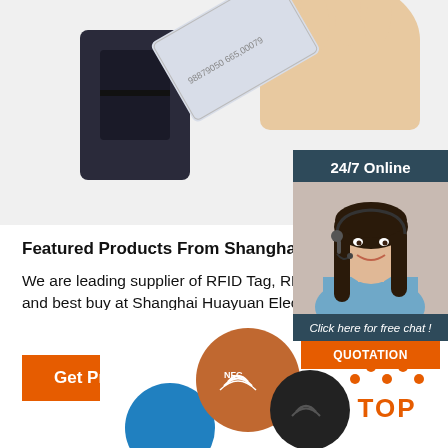[Figure (photo): Hand holding an RFID card being inserted into a card reader device, top portion of page]
[Figure (photo): Woman with headset smiling, customer service representative, 24/7 Online chat panel on the right side]
Featured Products From Shanghai Huayuan Electro
We are leading supplier of RFID Tag, RFID Card, er and best buy at Shanghai Huayuan Electronic Co., L
[Figure (other): Get Price orange button]
[Figure (photo): NFC round tags in orange, black, and blue colors at the bottom of the page]
[Figure (other): TOP navigation button with orange dots and text at bottom right]